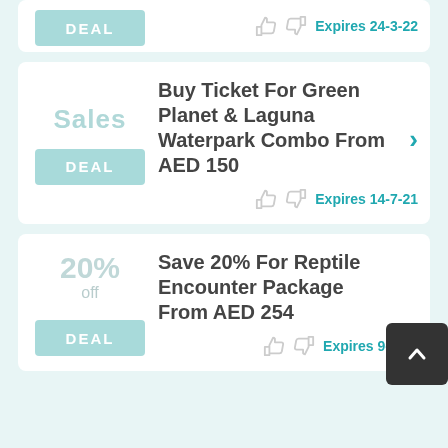[Figure (other): Partial deal card at top with DEAL button and Expires 24-3-22 text]
Sales
DEAL
Buy Ticket For Green Planet & Laguna Waterpark Combo From AED 150
Expires 14-7-21
20% off
DEAL
Save 20% For Reptile Encounter Package From AED 254
Expires 9-7-21